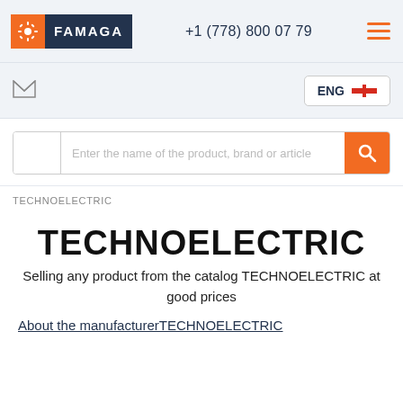[Figure (logo): FAMAGA logo with gear icon on orange background and company name on dark navy background]
+1 (778) 800 07 79
[Figure (other): Hamburger menu icon with three orange horizontal lines]
[Figure (other): Mail/envelope icon]
ENG [Canadian flag]
Enter the name of the product, brand or article
TECHNOELECTRIC
TECHNOELECTRIC
Selling any product from the catalog TECHNOELECTRIC at good prices
About the manufacturerTECHNOELECTRIC